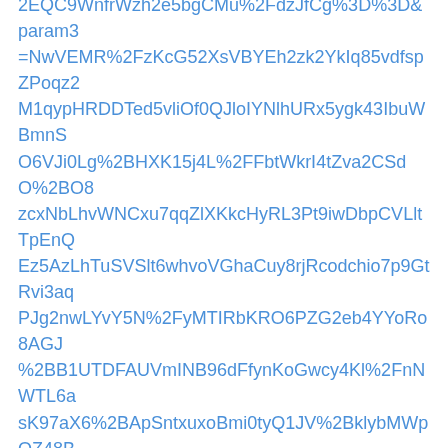2EQC9WnfrWzh2e5bgCMu%2FdzJfCg%3D%3D&param3=NwVEMR%2FzKcG52XsVBYEh2zk2YkIq85vdfspZPoqz2M1qypHRDDTed5vliOf0QJloIYNlhURx5ygk43IbuWBmnSO6VJi0Lg%2BHXK15j4L%2FFbtWkrI4tZva2CSdO%2BO8zcxNbLhvWNCxu7qqZlXKkcHyRL3Pt9iwDbpCVLltTpEnQEz5AzLhTuSVSlt6whvoVGhaCuy8rjRcodchio7p9GtRvi3aqPJg2nwLYvY5N%2FyMTIRbKRO6PZG2eb4YYoRo8AGJ%2BB1UTDFAUVmINB96dFfynKoGwcy4Kl%2FnNWTL6asK97aX6%2BApSntxuxoBmi0tyQ1JV%2BklybMWpOZ48BB760dRRg%3D%3D&param4=haYI12GgYUCrz7I7Vk3Qc496z1HWAIRp85m92EPIB3Q%3D&hsimp=yhs-syn&hspart=iba&ei=UTF-8&fr=yhs-iba-syn#id=15&iurl=https%3A%2F%2F3.bp.blogspot.com%2F-ZDGQ6MvOztk%2FVULgSxMnKZI%2FAAAAAAAAAACZk%2F2ENV-Awi-